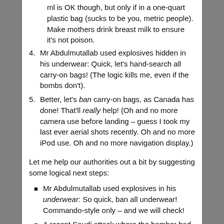ml is OK though, but only if in a one-quart plastic bag (sucks to be you, metric people). Make mothers drink breast milk to ensure it's not poison.
4. Mr Abdulmutallab used explosives hidden in his underwear: Quick, let’s hand-search all carry-on bags! (The logic kills me, even if the bombs don’t).
5. Better, let’s ban carry-on bags, as Canada has done! That’ll really help! (Oh and no more camera use before landing – guess I took my last ever aerial shots recently. Oh and no more iPod use. Oh and no more navigation display.)
Let me help our authorities out a bit by suggesting some logical next steps:
Mr Abdulmutallab used explosives in his underwear: So quick, ban all underwear! Commando-style only – and we will check!
A recent Saudi attack where the bomber had the explosives up his anus: Quick, mandate rectal (and vaginal, for those of us who have one)  searches for all...